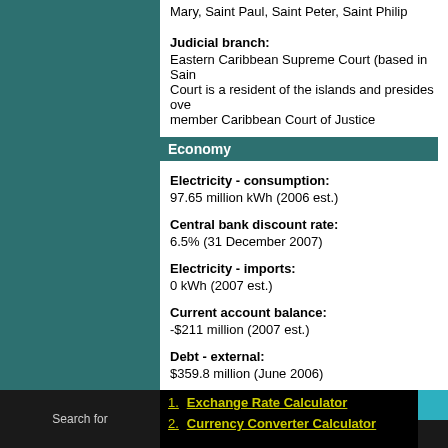Mary, Saint Paul, Saint Peter, Saint Philip
Judicial branch:
Eastern Caribbean Supreme Court (based in Saint Lucia); one judge of the Supreme Court is a resident of the islands and presides over the High Court; member Caribbean Court of Justice
Economy
Electricity - consumption:
97.65 million kWh (2006 est.)
Central bank discount rate:
6.5% (31 December 2007)
Electricity - imports:
0 kWh (2007 est.)
Current account balance:
-$211 million (2007 est.)
Debt - external:
$359.8 million (June 2006)
Unemployment rate:
Search for
1. Exchange Rate Calculator
2. Currency Converter Calculator